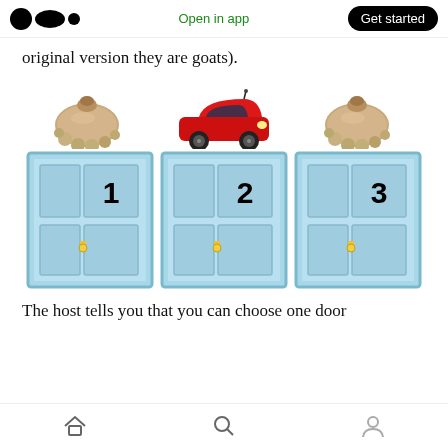Medium logo | Open in app | Get started
original version they are goats).
[Figure (illustration): Three numbered doors (1, 2, 3) each with an item above: sack of potatoes above door 1, red sports car above door 2, sack of potatoes above door 3.]
The host tells you that you can choose one door